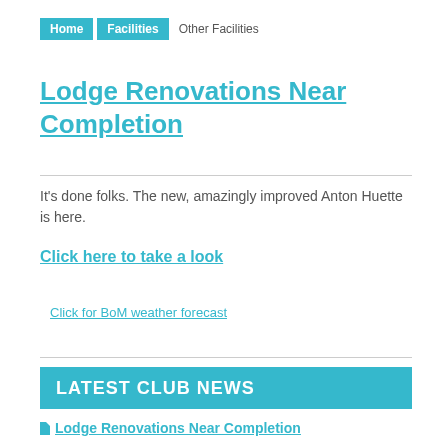Home | Facilities | Other Facilities
Lodge Renovations Near Completion
It's done folks. The new, amazingly improved Anton Huette is here.
Click here to take a look
Click for BoM weather forecast
LATEST CLUB NEWS
Lodge Renovations Near Completion